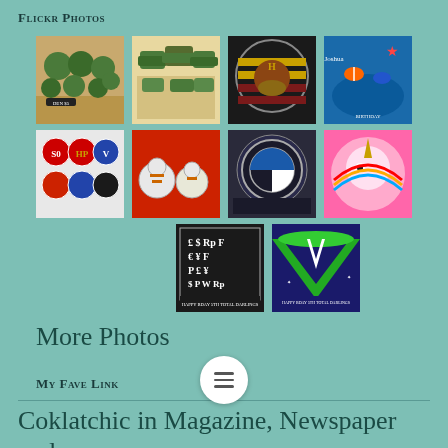Flickr Photos
[Figure (photo): Grid of 10 decorated cake/cupcake photos: row 1 has 4 images (army cupcakes, army tanks on cake, Harry Potter cake, Finding Nemo cake), row 2 has 4 images (superhero cupcakes, Star Wars BB-8 cupcakes, BMW cake, unicorn cake), row 3 has 2 images (currency symbols cake, green V-shape cake)]
More Photos
My Fave Link
Coklatchic in Magazine, Newspaper and TV